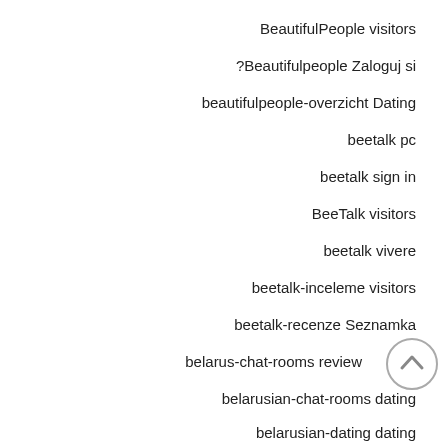BeautifulPeople visitors
?Beautifulpeople Zaloguj si
beautifulpeople-overzicht Dating
beetalk pc
beetalk sign in
BeeTalk visitors
beetalk vivere
beetalk-inceleme visitors
beetalk-recenze Seznamka
belarus-chat-rooms review
belarusian-chat-rooms dating
belarusian-dating dating